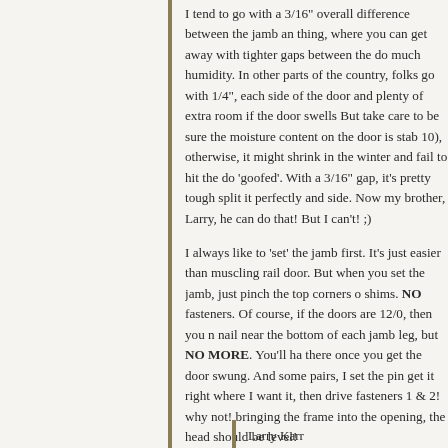I tend to go with a 3/16" overall difference between the jamb an thing, where you can get away with tighter gaps between the do much humidity. In other parts of the country, folks go with 1/4", each side of the door and plenty of extra room if the door swells But take care to be sure the moisture content on the door is stab 10), otherwise, it might shrink in the winter and fail to hit the do 'goofed'. With a 3/16" gap, it's pretty tough split it perfectly and side. Now my brother, Larry, he can do that! But I can't! ;)
I always like to 'set' the jamb first. It's just easier than muscling rail door. But when you set the jamb, just pinch the top corners o shims. NO fasteners. Of course, if the doors are 12/0, then you n nail near the bottom of each jamb leg, but NO MORE. You'll ha there once you get the door swung. And some pairs, I set the pin get it right where I want it, then drive fasteners 1 & 2! why not! bringing the frame into the opening, the head should be level!
Gary
Reply
Larry Karr